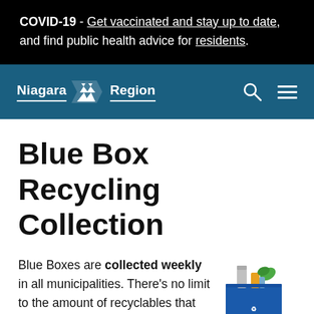COVID-19 - Get vaccinated and stay up to date, and find public health advice for residents.
[Figure (logo): Niagara Region logo with white text and lightning bolt icon on teal/blue background, with search and hamburger menu icons]
Blue Box Recycling Collection
Blue Boxes are collected weekly in all municipalities. There's no limit to the amount of recyclables that can
[Figure (photo): A blue recycling box filled with recyclable materials including cans and other items]